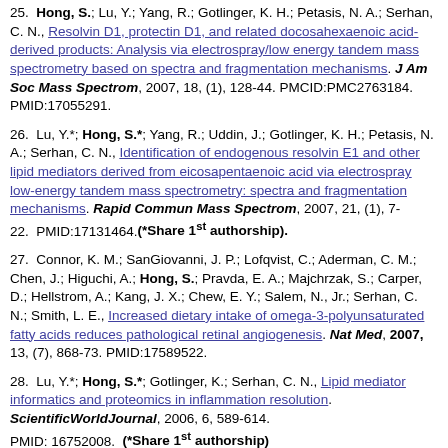25. Hong, S.; Lu, Y.; Yang, R.; Gotlinger, K. H.; Petasis, N. A.; Serhan, C. N., Resolvin D1, protectin D1, and related docosahexaenoic acid-derived products: Analysis via electrospray/low energy tandem mass spectrometry based on spectra and fragmentation mechanisms. J Am Soc Mass Spectrom, 2007, 18, (1), 128-44. PMCID:PMC2763184. PMID:17055291.
26. Lu, Y.*; Hong, S.*; Yang, R.; Uddin, J.; Gotlinger, K. H.; Petasis, N. A.; Serhan, C. N., Identification of endogenous resolvin E1 and other lipid mediators derived from eicosapentaenoic acid via electrospray low-energy tandem mass spectrometry: spectra and fragmentation mechanisms. Rapid Commun Mass Spectrom, 2007, 21, (1), 7-22. PMID:17131464.(*Share 1st authorship).
27. Connor, K. M.; SanGiovanni, J. P.; Lofqvist, C.; Aderman, C. M.; Chen, J.; Higuchi, A.; Hong, S.; Pravda, E. A.; Majchrzak, S.; Carper, D.; Hellstrom, A.; Kang, J. X.; Chew, E. Y.; Salem, N., Jr.; Serhan, C. N.; Smith, L. E., Increased dietary intake of omega-3-polyunsaturated fatty acids reduces pathological retinal angiogenesis. Nat Med, 2007, 13, (7), 868-73. PMID:17589522.
28. Lu, Y.*; Hong, S.*; Gotlinger, K.; Serhan, C. N., Lipid mediator informatics and proteomics in inflammation resolution. ScientificWorldJournal, 2006, 6, 589-614. PMID: 16752008. (*Share 1st authorship)